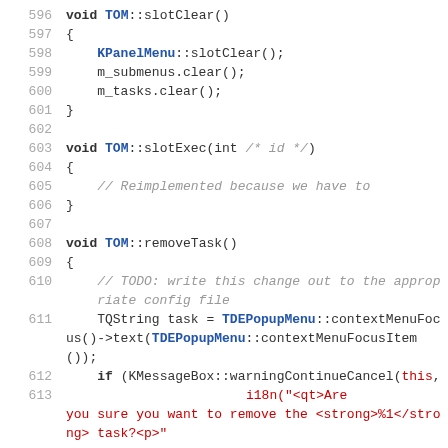[Figure (screenshot): Source code listing in C++ showing lines 596-613, featuring functions slotClear, slotExec, and removeTask of class TOM, with syntax highlighting in monospace font on white background.]